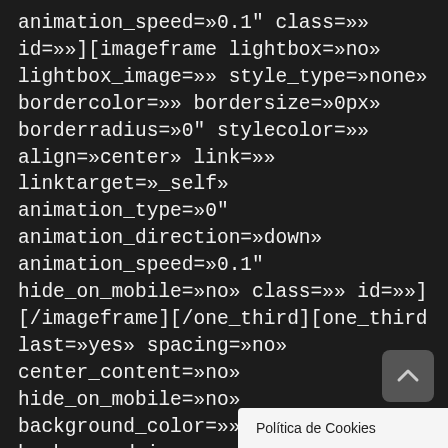animation_speed=»0.1" class=»» id=»»][imageframe lightbox=»no» lightbox_image=»» style_type=»none» bordercolor=»» bordersize=»0px» borderradius=»0" stylecolor=»» align=»center» link=»» linktarget=»_self» animation_type=»0" animation_direction=»down» animation_speed=»0.1" hide_on_mobile=»no» class=»» id=»»] [/imageframe][/one_third][one_third last=»yes» spacing=»no» center_content=»no» hide_on_mobile=»no» background_color=»» background_image=»» background_repeat=»no-repeat» background_position=»left top» border_size=»0px» border_color=»» border_style=»solid» padding=»» margin_top=»» margin_bottom=»0px» an
[Figure (screenshot): Scroll-to-top button (grey rounded rectangle with up chevron arrow)]
Política de Cookies